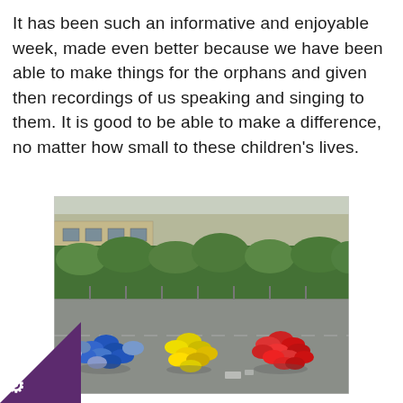It has been such an informative and enjoyable week, made even better because we have been able to make things for the orphans and given then recordings of us speaking and singing to them. It is good to be able to make a difference, no matter how small to these children's lives.
[Figure (photo): Children in coloured tops (blue, yellow, red) kneeling/bowing on a playground tarmac, with a large green hedge and a building in the background.]